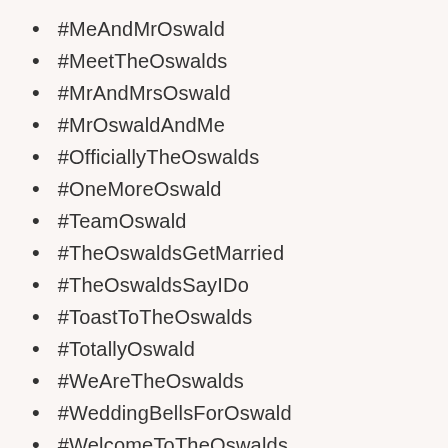#MeAndMrOswald
#MeetTheOswalds
#MrAndMrsOswald
#MrOswaldAndMe
#OfficiallyTheOswalds
#OneMoreOswald
#TeamOswald
#TheOswaldsGetMarried
#TheOswaldsSayIDo
#ToastToTheOswalds
#TotallyOswald
#WeAreTheOswalds
#WeddingBellsForOswald
#WelcomeToTheOswalds